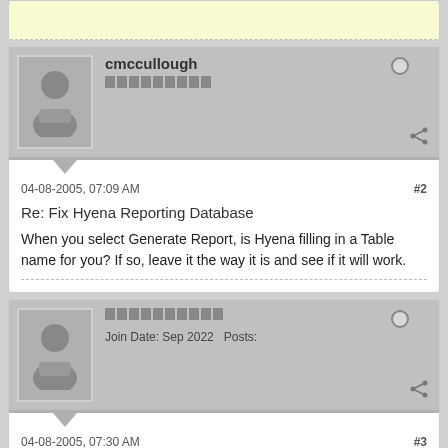(partial previous post)
cmccullough
04-08-2005, 07:09 AM   #2
Re: Fix Hyena Reporting Database
When you select Generate Report, is Hyena filling in a Table name for you? If so, leave it the way it is and see if it will work.
Join Date: Sep 2022   Posts:
04-08-2005, 07:30 AM   #3
Re: Fix Hyena Reporting Database